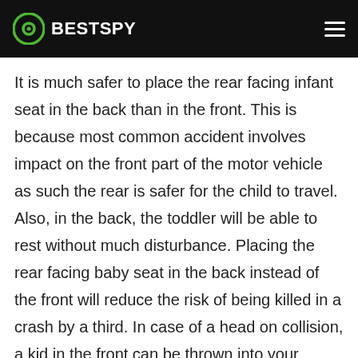BESTSPY
It is much safer to place the rear facing infant seat in the back than in the front. This is because most common accident involves impact on the front part of the motor vehicle as such the rear is safer for the child to travel. Also, in the back, the toddler will be able to rest without much disturbance. Placing the rear facing baby seat in the back instead of the front will reduce the risk of being killed in a crash by a third. In case of a head on collision, a kid in the front can be thrown into your vehicle dashboard or via the windshield. This can cause serious injury to the infant or death. Even though the baby is well buckled in, he or she is at high risk of being hurt or ejected from the vehicle.